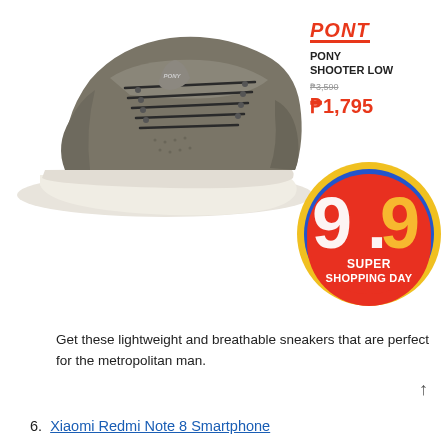[Figure (photo): Gray PONY Shooter Low canvas sneaker with dark laces and white sole, angled side view]
[Figure (logo): PONY brand logo in red italic text with underline]
PONY SHOOTER LOW
₱3,590
₱1,795
[Figure (infographic): 9.9 Super Shopping Day circular badge with red, blue and yellow gradient background, white text showing 9.9 large and SUPER SHOPPING DAY below]
Get these lightweight and breathable sneakers that are perfect for the metropolitan man.
6. Xiaomi Redmi Note 8 Smartphone